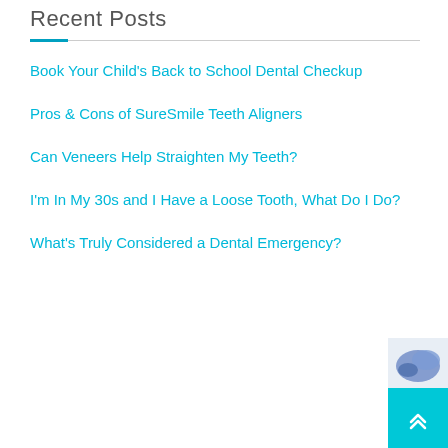Recent Posts
Book Your Child's Back to School Dental Checkup
Pros & Cons of SureSmile Teeth Aligners
Can Veneers Help Straighten My Teeth?
I'm In My 30s and I Have a Loose Tooth, What Do I Do?
What's Truly Considered a Dental Emergency?